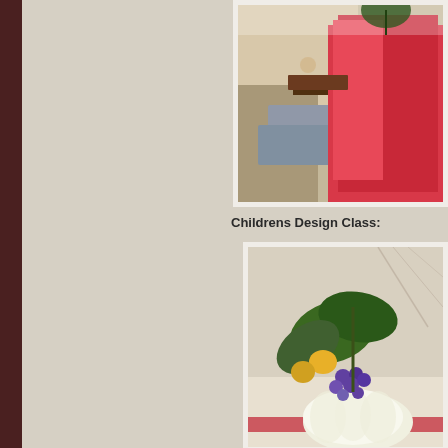[Figure (photo): Photo of craft/design materials on a table, including pink papers or cards and fabric, partially cropped at top-right of page]
Childrens Design Class:
[Figure (photo): Photo of a floral/botanical arrangement featuring green leaves, grapes, and a white pumpkin or gourd with red ribbon, on a table]